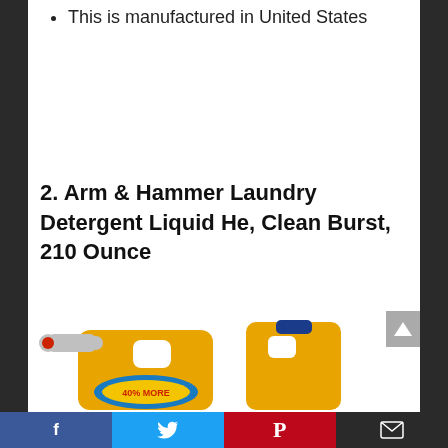This is manufactured in United States
2. Arm & Hammer Laundry Detergent Liquid He, Clean Burst, 210 Ounce
[Figure (photo): Two orange/yellow large plastic jugs of Arm & Hammer laundry detergent with blue caps, showing '40% MORE' label, partially visible at bottom of page]
Facebook | Twitter | Pinterest | Email social share buttons